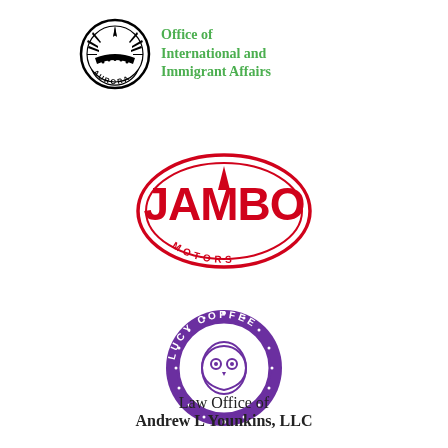[Figure (logo): Aurora Office of International and Immigrant Affairs logo: circular black seal with sun/crown design and 'AURORA' text, next to green bold text 'Office of International and Immigrant Affairs']
[Figure (logo): Jambo Motors logo: red oval border with bold red 'JAMBO' text and 'MOTORS' text in curved style]
[Figure (logo): Lucy Coffee circular purple logo with face design and text 'LUCY COFFEE' around the border with decorative script]
Law Office of
Andrew L Younkins, LLC